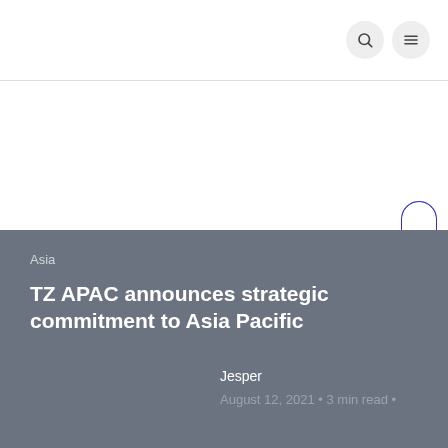Asia
TZ APAC announces strategic commitment to Asia Pacific
Jesper
August 12, 2021 • 3 min read •